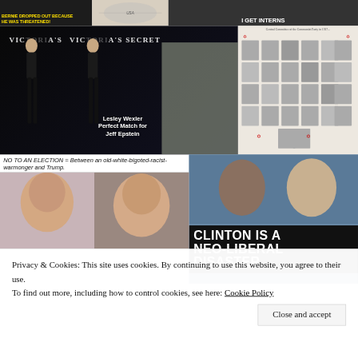[Figure (screenshot): Top row: three image panels - left shows dark image with yellow text 'BERNIE DROPPED OUT BECAUSE HE WAS THREATENED!', center shows cartoon/illustration, right shows dark photo with text 'I GET INTERNS']
[Figure (photo): Large composite image: Victoria's Secret models with text overlay 'Lesley Wexler Perfect Match for Jeff Epstein' and photo of elderly man]
[Figure (photo): Right panel: grid of black and white portrait photos with Star of David symbols, labeled 'Central Committee of the Communist Party']
NO TO AN ELECTION = Between an old-white-bigoted-racist-warmonger and Trump.
[Figure (photo): Photos of Hillary Clinton and Donald Trump side by side]
[Figure (photo): Right: Photo of Clinton with man in suit, below text: CLINTON IS A NEO-LIBERAL DISASTER]
Privacy & Cookies: This site uses cookies. By continuing to use this website, you agree to their use.
To find out more, including how to control cookies, see here: Cookie Policy
Close and accept